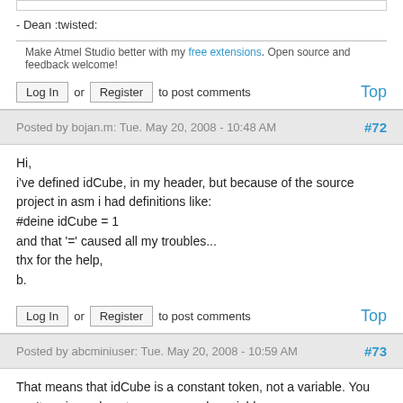- Dean :twisted:
Make Atmel Studio better with my free extensions. Open source and feedback welcome!
Log In or Register to post comments   Top
Posted by bojan.m: Tue. May 20, 2008 - 10:48 AM  #72
Hi,
i've defined idCube, in my header, but because of the source project in asm i had definitions like:
#deine idCube = 1
and that '=' caused all my troubles...
thx for the help,
b.
Log In or Register to post comments   Top
Posted by abcminiuser: Tue. May 20, 2008 - 10:59 AM  #73
That means that idCube is a constant token, not a variable. You can't assign values to a macro, only variables.